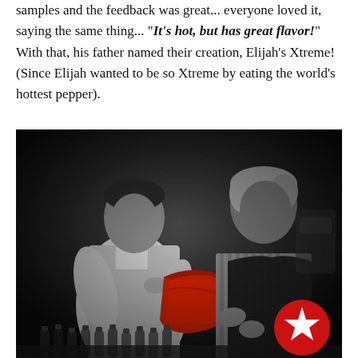samples and the feedback was great... everyone loved it, saying the same thing... "It's hot, but has great flavor!" With that, his father named their creation, Elijah's Xtreme! (Since Elijah wanted to be so Xtreme by eating the world's hottest pepper).
[Figure (photo): Black and white photo of two men (a younger man and an older man wearing an apron) working together in what appears to be a kitchen or production space, handling a red container, with small bottles visible in the foreground. A red circle with a white star icon is overlaid in the bottom right corner.]